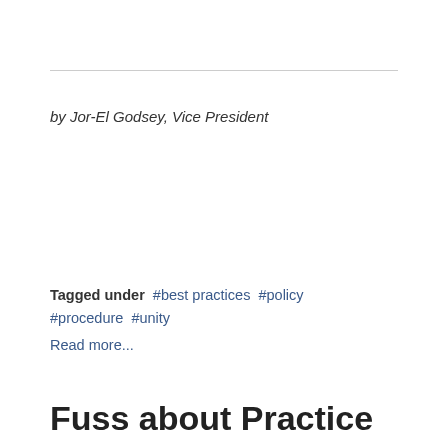by Jor-El Godsey, Vice President
Tagged under  #best practices  #policy  #procedure  #unity
Read more...
Fuss about Practice